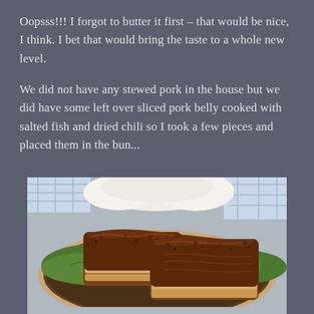Oopsss!!! I forgot to butter it first – that would be nice, I think. I bet that would bring the taste to a whole new level.
We did not have any stewed pork in the house but we did have some left over sliced pork belly cooked with salted fish and dried chili so I took a few pieces and placed them in the bun...
[Figure (photo): Close-up photo of glazed pork belly slices with a dark savory sauce, placed on green lettuce leaves on a decorative plate. White steamed buns visible in the background.]